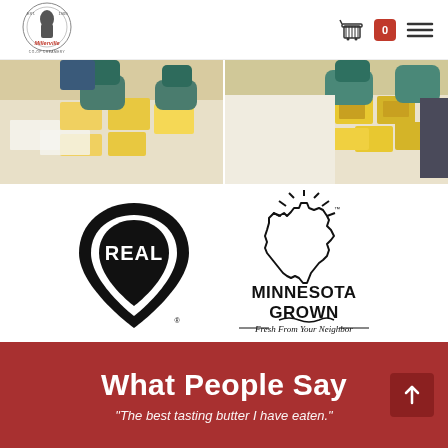Millerville Co-op Creamery — navigation bar with logo, cart icon with badge 0, and hamburger menu
[Figure (photo): Two side-by-side photos of a person wearing blue gloves handling blocks of yellow butter on a white work surface. Left photo shows butter blocks being arranged; right photo shows wrapped/packaged butter products.]
[Figure (logo): REAL dairy seal logo (black teardrop/droplet shape with the word REAL inside) and Minnesota Grown logo (outline of Minnesota state with sun rays above, text MINNESOTA GROWN and tagline Fresh From Your Neighbor).]
What People Say
"The best tasting butter I have eaten."